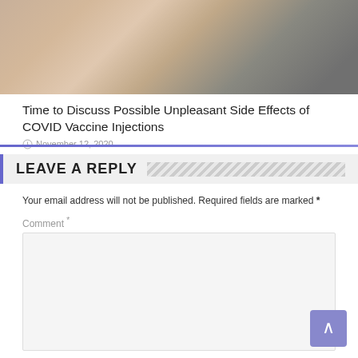[Figure (photo): Close-up photo of a hand administering a COVID vaccine injection into a person's arm, showing fingers pressing on the skin and a syringe.]
Time to Discuss Possible Unpleasant Side Effects of COVID Vaccine Injections
November 12, 2020
LEAVE A REPLY
Your email address will not be published. Required fields are marked *
Comment *